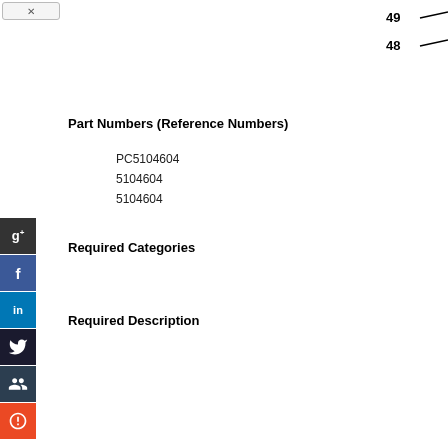[Figure (schematic): Partial engineering diagram showing reference callout lines with numbers 49 and 48 at top right]
Part Numbers (Reference Numbers)
PC5104604
5104604
5104604
Required Categories
Required Description
[Figure (other): Social media sharing buttons sidebar: Google+, Facebook, LinkedIn, Twitter, a group icon, StumbleUpon]